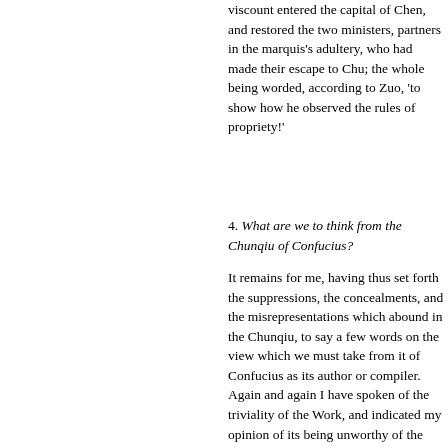viscount entered the capital of Chen, and restored the two ministers, partners in the marquis's adultery, who had made their escape to Chu; the whole being worded, according to Zuo, 'to show how he observed the rules of propriety!'
4. What are we to think from the Chunqiu of Confucius?
It remains for me, having thus set forth the suppressions, the concealments, and the misrepresentations which abound in the Chunqiu, to say a few words on the view which we must take from it of Confucius as its author or compiler. Again and again I have spoken of the triviality of the Work, and indicated my opinion of its being unworthy of the sage to have put together so slight a thing. But these positively bad characteristics of it on which I have now enlarged demand the expression